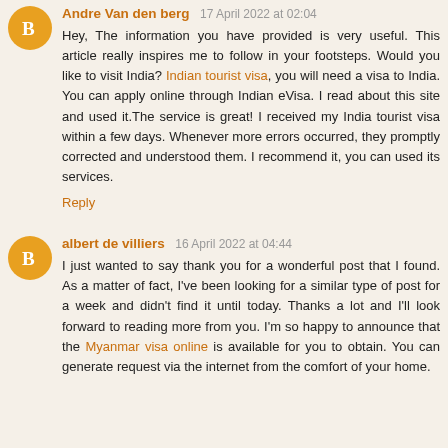Andre Van den berg 17 April 2022 at 02:04
Hey, The information you have provided is very useful. This article really inspires me to follow in your footsteps. Would you like to visit India? Indian tourist visa, you will need a visa to India. You can apply online through Indian eVisa. I read about this site and used it.The service is great! I received my India tourist visa within a few days. Whenever more errors occurred, they promptly corrected and understood them. I recommend it, you can used its services.
Reply
albert de villiers 16 April 2022 at 04:44
I just wanted to say thank you for a wonderful post that I found. As a matter of fact, I've been looking for a similar type of post for a week and didn't find it until today. Thanks a lot and I'll look forward to reading more from you. I'm so happy to announce that the Myanmar visa online is available for you to obtain. You can generate request via the internet from the comfort of your home.